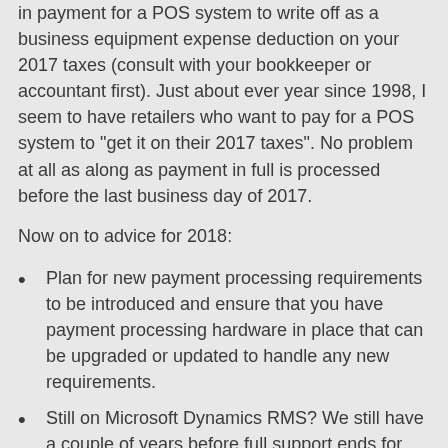in payment for a POS system to write off as a business equipment expense deduction on your 2017 taxes (consult with your bookkeeper or accountant first). Just about ever year since 1998, I seem to have retailers who want to pay for a POS system to "get it on their 2017 taxes". No problem at all as along as payment in full is processed before the last business day of 2017.
Now on to advice for 2018:
Plan for new payment processing requirements to be introduced and ensure that you have payment processing hardware in place that can be upgraded or updated to handle any new requirements.
Still on Microsoft Dynamics RMS? We still have a couple of years before full support ends for RMS and HQ. Never hurts to start planning now to replace RMS (and HQ). There are several low cost replacement options that allow you to keep your existing information so you are not starting from scratch with a whole new point of sale.